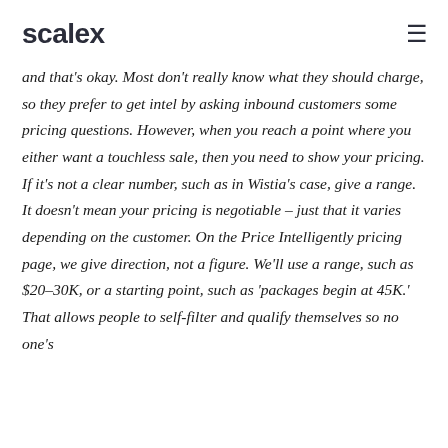scalex
and that's okay. Most don't really know what they should charge, so they prefer to get intel by asking inbound customers some pricing questions. However, when you reach a point where you either want a touchless sale, then you need to show your pricing. If it's not a clear number, such as in Wistia's case, give a range. It doesn't mean your pricing is negotiable – just that it varies depending on the customer. On the Price Intelligently pricing page, we give direction, not a figure. We'll use a range, such as $20–30K, or a starting point, such as 'packages begin at 45K.' That allows people to self-filter and qualify themselves so no one's